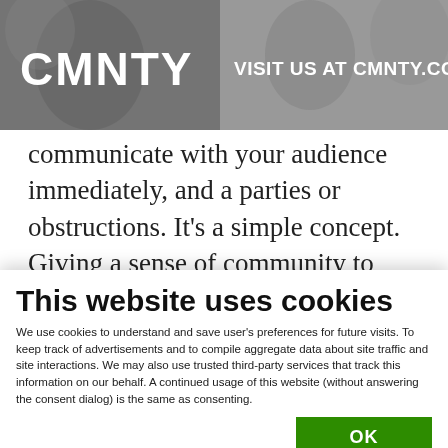[Figure (screenshot): CMNTY website header banner with logo on left (CMNTY.) and text 'VISIT US AT CMNTY.COM' on right, grayscale photo background with people]
communicate with your audience immediately, and a parties or obstructions. It's a simple concept. Giving a sense of community to your customers unites them over a single cause – this boosts their confidence and loyalty. Let people know that they
This website uses cookies
We use cookies to understand and save user's preferences for future visits. To keep track of advertisements and to compile aggregate data about site traffic and site interactions. We may also use trusted third-party services that track this information on our behalf. A continued usage of this website (without answering the consent dialog) is the same as consenting.
OK
Necessary  Preferences  Statistics  Marketing  Show details